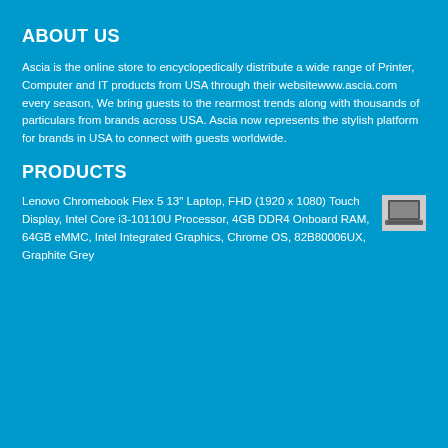ABOUT US
Ascia is the online store to encyclopedically distribute a wide range of Printer, Computer and IT products from USA through their websitewww.ascia.com every season, We bring guests to the rearmost trends along with thousands of particulars from brands across USA. Ascia now represents the stylish platform for brands in USA to connect with guests worldwide.
PRODUCTS
Lenovo Chromebook Flex 5 13" Laptop, FHD (1920 x 1080) Touch Display, Intel Core i3-10110U Processor, 4GB DDR4 Onboard RAM, 64GB eMMC, Intel Integrated Graphics, Chrome OS, 82B80006UX, Graphite Grey
[Figure (photo): Small thumbnail photo of a laptop computer]